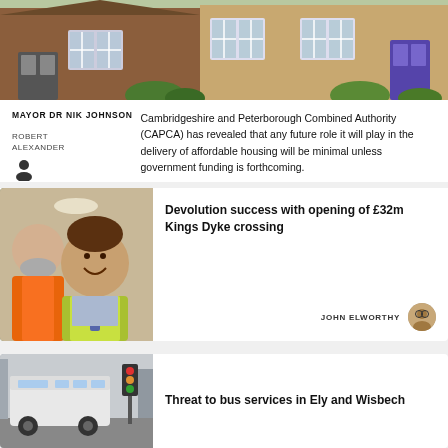[Figure (photo): Exterior of residential houses, brick and render, with windows and doors visible]
MAYOR DR NIK JOHNSON
ROBERT ALEXANDER
Cambridgeshire and Peterborough Combined Authority (CAPCA) has revealed that any future role it will play in the delivery of affordable housing will be minimal unless government funding is forthcoming.
[Figure (photo): Two men in high-visibility vests sitting in a vehicle, smiling, selfie style]
Devolution success with opening of £32m Kings Dyke crossing
JOHN ELWORTHY
[Figure (photo): A bus or large vehicle on a street in Ely or Wisbech area]
Threat to bus services in Ely and Wisbech